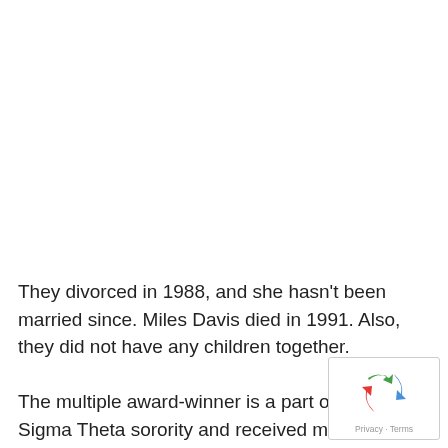They divorced in 1988, and she hasn't been married since. Miles Davis died in 1991. Also, they did not have any children together.
The multiple award-winner is a part of the Del Sigma Theta sorority and received many honorary